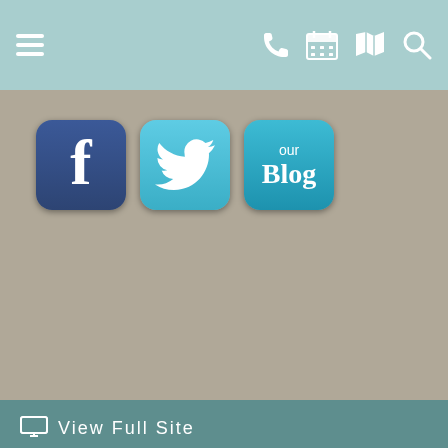Navigation bar with hamburger menu, phone, calendar, map, and search icons
[Figure (screenshot): Facebook, Twitter, and Blog social media icon buttons on a tan/khaki background]
View Full Site | Copyright © 2022 MH Sub I, LLC dba Officite | Disclaimer | Patient Privacy | Site Map